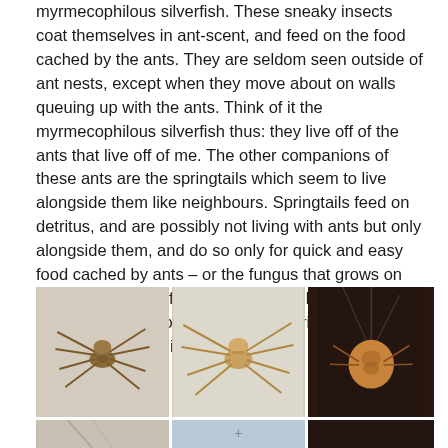myrmecophilous silverfish. These sneaky insects coat themselves in ant-scent, and feed on the food cached by the ants. They are seldom seen outside of ant nests, except when they move about on walls queuing up with the ants. Think of it the myrmecophilous silverfish thus: they live off of the ants that live off of me. The other companions of these ants are the springtails which seem to live alongside them like neighbours. Springtails feed on detritus, and are possibly not living with ants but only alongside them, and do so only for quick and easy food cached by ants – or the fungus that grows on this cache. Most of these associates live in the wilder part of the microcosm, so I was surprised to find them on the fourth floor in a city.
[Figure (photo): Three photographs of spiders. Left: Pritba sp., Filistaridae — a brownish spider with long legs on a light background. Middle: Clubiona sp., Clubionidae — a pale yellowish-brown spider with long legs on a white background. Right: a round-bodied spider (possibly a cobweb spider) hanging in web against a dark background.]
Pritba sp.
Filistaridae
Clubiona sp.
Clubionidae